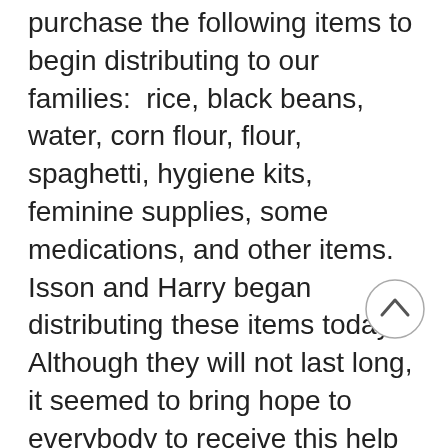purchase the following items to begin distributing to our families:  rice, black beans, water, corn flour, flour, spaghetti, hygiene kits, feminine supplies, some medications, and other items.  Isson and Harry began distributing these items today.  Although they will not last long, it seemed to bring hope to everybody to receive this help and also to know that we care about them.
We are also still collecting supplies and are partnering with another organization to take a container to Haiti which will leave Utah on March 8th.  If you are interested in donating items, we need to receive them by March 5th.  Please contact us about